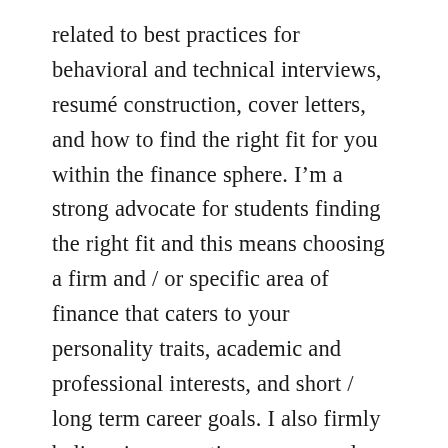related to best practices for behavioral and technical interviews, resumé construction, cover letters, and how to find the right fit for you within the finance sphere. I'm a strong advocate for students finding the right fit and this means choosing a firm and / or specific area of finance that caters to your personality traits, academic and professional interests, and short / long term career goals. I also firmly believe in supporting women and first generation college students like myself and I can speak to these identities too. There are a variety of areas to explore when it comes to finance; therefore, feel free to ask away and I'm more than happy to share my experiences on